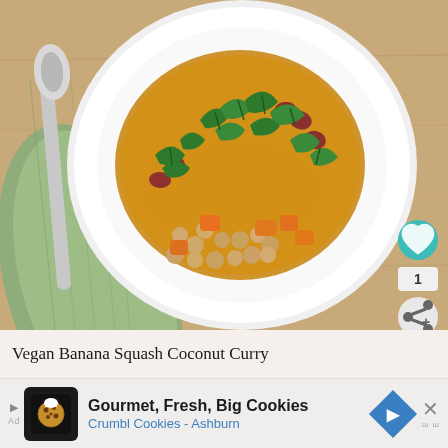[Figure (photo): Overhead photo of a white bowl containing vegan banana squash coconut curry with chickpeas, kale, and rice, set on a wooden table with a green cloth napkin and spoon to the left. A teal heart button, a '1' badge, and a share button overlay the right side. A 'What's Next' panel appears bottom right.]
Vegan Banana Squash Coconut Curry
[Figure (screenshot): Advertisement banner: Gourmet, Fresh, Big Cookies — Crumbl Cookies - Ashburn, with cookie icon, blue diamond navigation icon, and close button.]